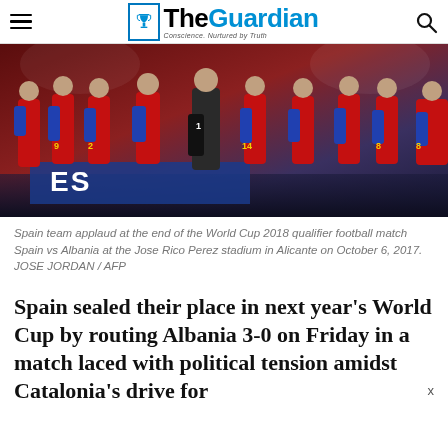The Guardian
[Figure (photo): Spain football team applauding at the end of a World Cup 2018 qualifier match, players wearing red jerseys with numbers including 9, 2, 1, 14, 8]
Spain team applaud at the end of the World Cup 2018 qualifier football match Spain vs Albania at the Jose Rico Perez stadium in Alicante on October 6, 2017. JOSE JORDAN / AFP
Spain sealed their place in next year’s World Cup by routing Albania 3-0 on Friday in a match laced with political tension amidst Catalonia’s drive for independence, and highlighted by a stunning free-kick from D...